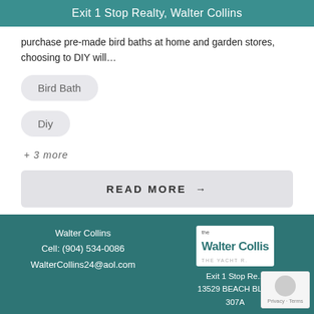Exit 1 Stop Realty, Walter Collins
purchase pre-made bird baths at home and garden stores, choosing to DIY will…
Bird Bath
Diy
+ 3 more
READ MORE →
Walter Collins
Cell: (904) 534-0086
WalterCollins24@aol.com
Exit 1 Stop Realty
13529 BEACH BLVD
307A